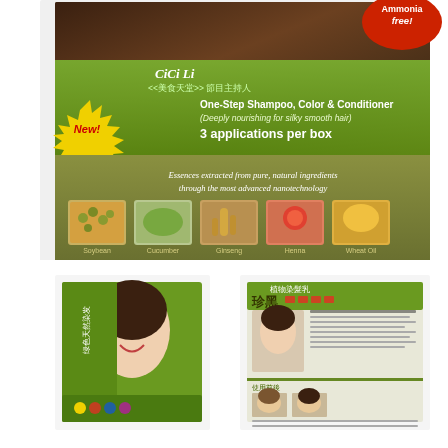[Figure (photo): Product photo of CiCi Li hair color box. Large close-up shot showing the front of a green hair dye box with text: 'Ammonia free!', 'CiCi Li', '<<美食天堂>> 節目主持人', 'One-Step Shampoo, Color & Conditioner (Deeply nourishing for silky smooth hair)', '3 applications per box', 'Essences extracted from pure, natural ingredients through the most advanced nanotechnology', with images of natural ingredients: Soybean, Cucumber, Ginseng, Henna, Wheat Oil. Below are two smaller product images: one showing the front of a green packet with a woman's face, and another showing a product brochure with Chinese text '珍黑 植物染髮乳' and before/after images.]